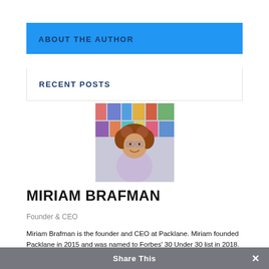ABOUT THE AUTHOR
RECENT POSTS
[Figure (photo): Headshot of Miriam Brafman, a young woman with curly auburn hair and glasses, smiling, standing in front of a wall of colorful book covers.]
MIRIAM BRAFMAN
Founder & CEO
Miriam Brafman is the founder and CEO at Packlane. Miriam founded Packlane in 2015 and was named to Forbes' 30 Under 30 list in 2018.
Share This